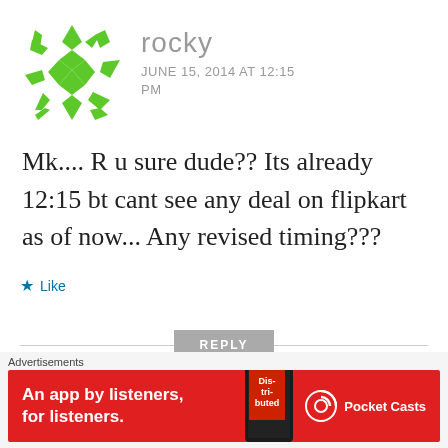[Figure (illustration): Green geometric snowflake/star avatar icon for user 'rocky']
rocky
JUNE 15, 2014 AT 12:15 PM
Mk.... R u sure dude?? Its already 12:15 bt cant see any deal on flipkart as of now... Any revised timing???
Like
REPLY
[Figure (illustration): Blue and purple geometric avatar icon for user 'Mk']
Mk
Advertisements
[Figure (other): Red advertisement banner for Pocket Casts app: 'An app by listeners, for listeners.']